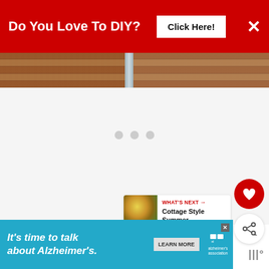[Figure (screenshot): Red banner advertisement: 'Do You Love To DIY? Click Here!' with X close button]
[Figure (photo): Photo strip showing wooden deck/flooring with a divider in the middle]
[Figure (screenshot): White/light gray content area with three loading dots centered]
[Figure (screenshot): Red heart favorite button (circle)]
[Figure (screenshot): White share button (circle) with share+plus icon]
[Figure (screenshot): What's Next card showing thumbnail of flowers and text 'Cottage Style Summer...']
[Figure (screenshot): Bottom advertisement banner: 'It's time to talk about Alzheimer's.' with Learn More button and Alzheimer's Association logo]